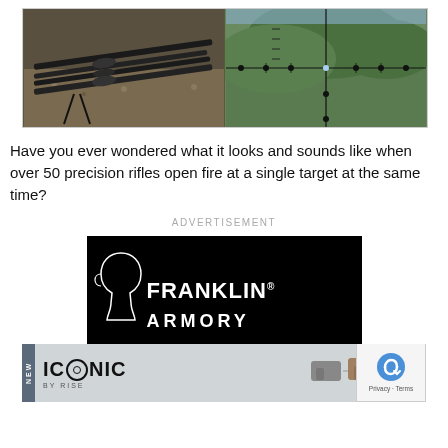[Figure (photo): Two side-by-side photos: left shows rifles laid out on gravel ground, right shows a rifle scope crosshair view with reticle markings over green vegetation background]
Have you ever wondered what it looks and sounds like when over 50 precision rifles open fire at a single target at the same time?
ADVERTISEMENT
[Figure (photo): Franklin Armory advertisement banner with black background showing brand name]
[Figure (photo): ICONIC BY RISE advertisement bar with NEW label, logo and product silhouettes]